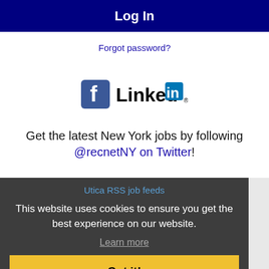Log In
Forgot password?
[Figure (logo): Facebook logo icon and LinkedIn logo side by side]
Get the latest New York jobs by following @recnetNY on Twitter!
Utica RSS job feeds
This website uses cookies to ensure you get the best experience on our website.
Learn more
Got it!
JOB SEEKERS
Search Utica jobs